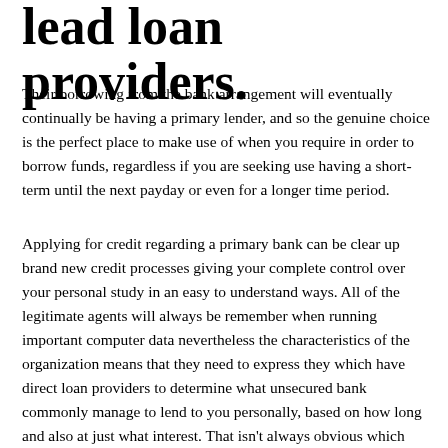lead loan providers.
Their borrowing from the bank arrangement will eventually continually be having a primary lender, and so the genuine choice is the perfect place to make use of when you require in order to borrow funds, regardless if you are seeking use having a short-term until the next payday or even for a longer time period.
Applying for credit regarding a primary bank can be clear up brand new credit processes giving your complete control over your personal study in an easy to understand ways. All of the legitimate agents will always be remember when running important computer data nevertheless the characteristics of the organization means that they need to express they which have direct loan providers to determine what unsecured bank commonly manage to lend to you personally, based on how long and also at just what interest. That isn't always obvious which reaches see your private details as many broker websites only go as far as stating that they focus on a screen of your Monetary Carry out Expert (FCA) managed lead lenders, in place of in reality giving you their names until you fill in your online credit app.